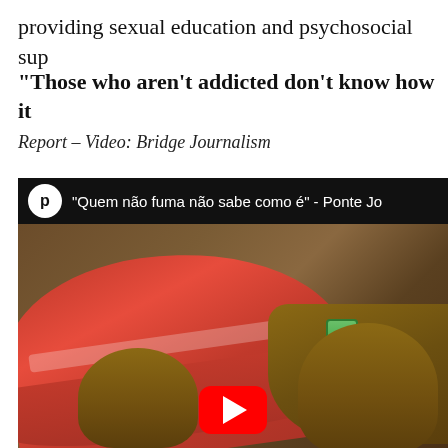providing sexual education and psychosocial sup
“Those who aren’t addicted don’t know how it
Report – Video: Bridge Journalism
[Figure (screenshot): Embedded video player showing title bar with logo 'p' and text '"Quem não fuma não sabe como é" - Ponte Jo...' and a video thumbnail showing a man in a red cap holding a small object outdoors, with a YouTube play button overlay at the bottom.]